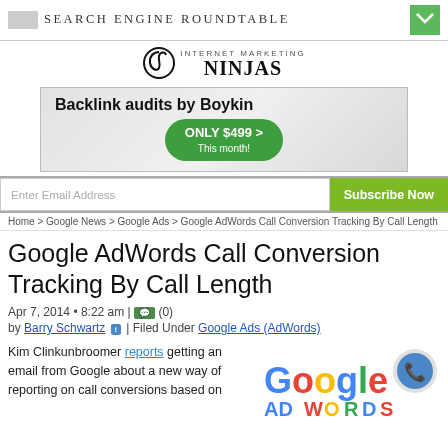SEARCH ENGINE ROUNDTABLE
[Figure (logo): Internet Marketing Ninjas logo with spiral icon and bold text]
[Figure (infographic): Advertisement: Backlink audits by Boykin - ONLY $499 This month!]
Enter Email Address | Subscribe Now
Home > Google News > Google Ads > Google AdWords Call Conversion Tracking By Call Length
Google AdWords Call Conversion Tracking By Call Length
Apr 7, 2014 • 8:22 am | (0)
by Barry Schwartz | Filed Under Google Ads (AdWords)
Kim Clinkunbroomer reports getting an email from Google about a new way of reporting on call conversions based on
[Figure (logo): Google AdWords logo with phone icon]